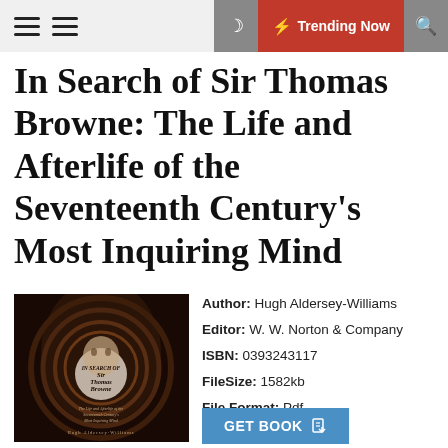≡ ≡   🌙  ⚡ Trending Now  🔍
In Search of Sir Thomas Browne: The Life and Afterlife of the Seventeenth Century's Most Inquiring Mind
[Figure (photo): Book cover of 'In Search of Sir Thomas Browne' by Hugh Aldersey-Williams, showing a portrait face behind circular swirling design with text overlay]
Author: Hugh Aldersey-Williams
Editor: W. W. Norton & Company
ISBN: 0393243117
FileSize: 1582kb
File Format: Pdf
Read: 1582
GET BOOK